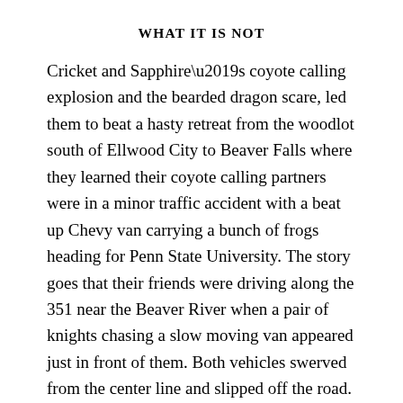WHAT IT IS NOT
Cricket and Sapphire’s coyote calling explosion and the bearded dragon scare, led them to beat a hasty retreat from the woodlot south of Ellwood City to Beaver Falls where they learned their coyote calling partners were in a minor traffic accident with a beat up Chevy van carrying a bunch of frogs heading for Penn State University. The story goes that their friends were driving along the 351 near the Beaver River when a pair of knights chasing a slow moving van appeared just in front of them. Both vehicles swerved from the center line and slipped off the road. The knights like to told the frogs and they got the to the